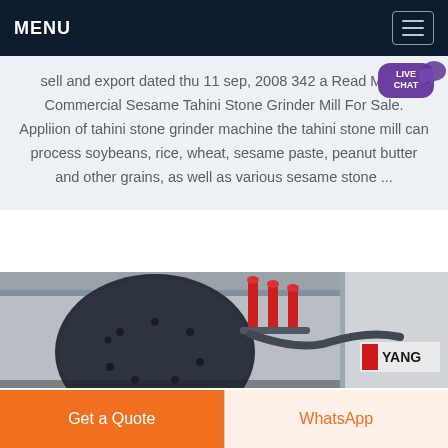MENU
sell and export dated thu 11 sep, 2008 342 a Read More. Commercial Sesame Tahini Stone Grinder Mill For Sale. Appliion of tahini stone grinder machine the tahini stone mill can process soybeans, rice, wheat, sesame paste, peanut butter and other grains, as well as various sesame stone ...
[Figure (photo): Industrial grinding machine with red handles and YANG branding in a warehouse setting]
Get a Quote
WhatsApp